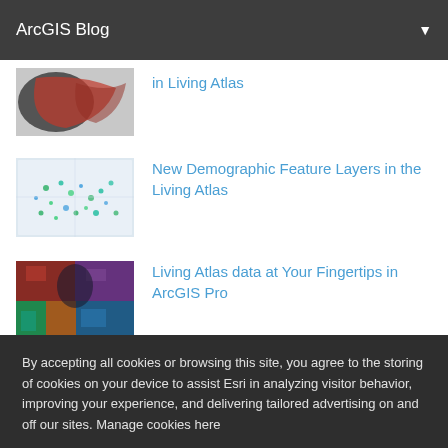ArcGIS Blog
[Figure (screenshot): Thumbnail image of a map with red and black patterns, partially cropped at top]
in Living Atlas
[Figure (screenshot): Thumbnail image of a demographic map with colorful dots (green, teal, blue) showing US data]
New Demographic Feature Layers in the Living Atlas
[Figure (screenshot): Thumbnail image showing colorful raster data layers in dark tones]
Living Atlas data at Your Fingertips in ArcGIS Pro
By accepting all cookies or browsing this site, you agree to the storing of cookies on your device to assist Esri in analyzing visitor behavior, improving your experience, and delivering tailored advertising on and off our sites. Manage cookies here